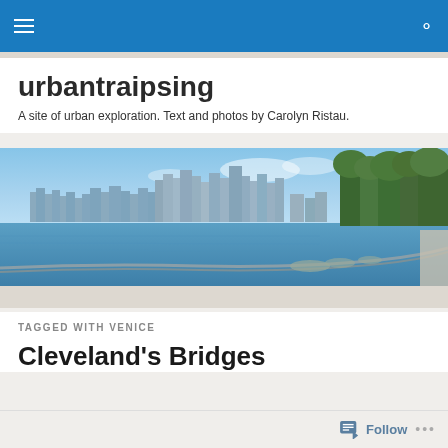urbantraipsing navigation bar with hamburger menu and search icon
urbantraipsing
A site of urban exploration. Text and photos by Carolyn Ristau.
[Figure (photo): Panoramic photo of a city skyline reflected in water, with a curved waterfront path and trees on the right side. Blue sky with light clouds above.]
TAGGED WITH VENICE
Cleveland's Bridges
Follow ...